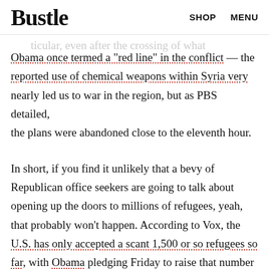Bustle   SHOP   MENU
administration's refusal of direct military engagement
particular, even after the crossing of what Obama once termed a "red line" in the conflict — the reported use of chemical weapons within Syria very nearly led us to war in the region, but as PBS detailed, the plans were abandoned close to the eleventh hour.

In short, if you find it unlikely that a bevy of Republican office seekers are going to talk about opening up the doors to millions of refugees, yeah, that probably won't happen. According to Vox, the U.S. has only accepted a scant 1,500 or so refugees so far, with Obama pledging Friday to raise that number to 10,000. Considering the number of Syrians estimated to be fleeing their country is around 4